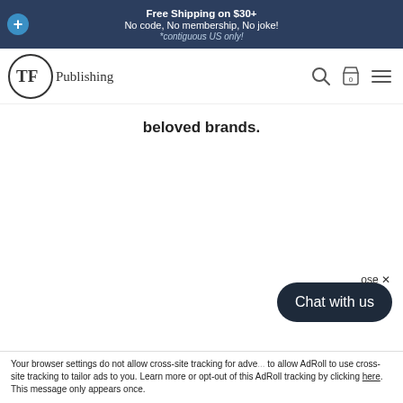Free Shipping on $30+
No code, No membership, No joke!
*contiguous US only!
[Figure (logo): TF Publishing logo — circle with TF initials and Publishing text]
beloved brands.
[Figure (other): Chat with us button widget]
ose ✕
Your browser settings do not allow cross-site tracking for adve... to allow AdRoll to use cross-site tracking to tailor ads to you. Learn more or opt-out of this AdRoll tracking by clicking here. This message only appears once.